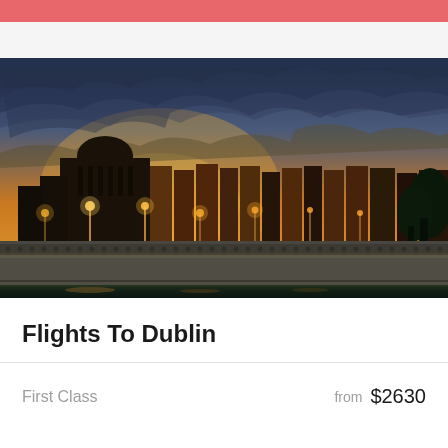[Figure (photo): Dublin cityscape at sunset showing a bridge over the River Liffey with illuminated buildings including the Four Courts dome, warm orange sky with dramatic clouds]
Flights To Dublin
First Class   from   $2630